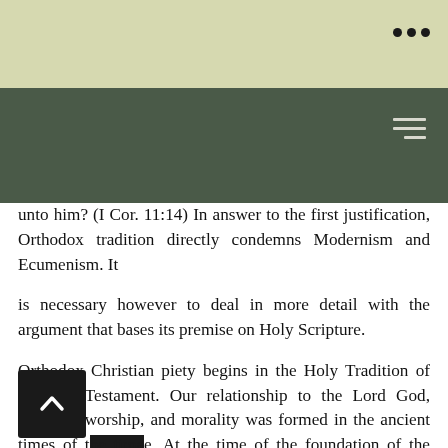...
unto him? (I Cor. 11:14) In answer to the first justification, Orthodox tradition directly condemns Modernism and Ecumenism. It
is necessary however to deal in more detail with the argument that bases its premise on Holy Scripture.
Orthodox Christian piety begins in the Holy Tradition of the Old Testament. Our relationship to the Lord God, holiness, worship, and morality was formed in the ancient times of the time. At the time of the foundation of the priesthood the Lord gave the following commandments to the priests during periods of mourning, And ye shall not shave your head